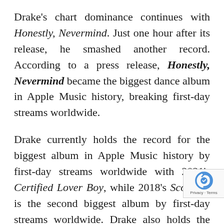Drake's chart dominance continues with Honestly, Nevermind. Just one hour after its release, he smashed another record. According to a press release, Honestly, Nevermind became the biggest dance album in Apple Music history, breaking first-day streams worldwide.
Drake currently holds the record for the biggest album in Apple Music history by first-day streams worldwide with 2021's Certified Lover Boy, while 2018's Scorpion is the second biggest album by first-day streams worldwide. Drake also holds the record for the biggest song in Apple Music history by first-day streams worldwide, with "Girls Want Girls."